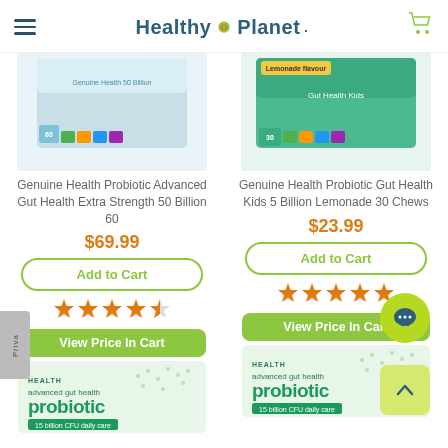Healthy Planet
[Figure (photo): Genuine Health Probiotic Advanced Gut Health Extra Strength 50 Billion 60 product box]
[Figure (photo): Genuine Health Probiotic Gut Health Kids 5 Billion Lemonade 30 Chews product box]
Genuine Health Probiotic Advanced Gut Health Extra Strength 50 Billion 60
Genuine Health Probiotic Gut Health Kids 5 Billion Lemonade 30 Chews
$69.99
$23.99
Add to Cart
Add to Cart
View Price In Cart
View Price In Cart
[Figure (photo): Genuine Health advanced gut health probiotic 15 billion CFU daily care box bottom portion]
[Figure (photo): Genuine Health advanced gut health probiotic 15 billion CFU daily care box bottom portion second product]